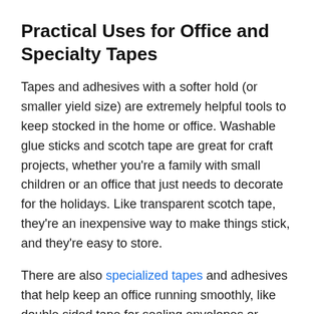Practical Uses for Office and Specialty Tapes
Tapes and adhesives with a softer hold (or smaller yield size) are extremely helpful tools to keep stocked in the home or office. Washable glue sticks and scotch tape are great for craft projects, whether you're a family with small children or an office that just needs to decorate for the holidays. Like transparent scotch tape, they're an inexpensive way to make things stick, and they're easy to store.
There are also specialized tapes and adhesives that help keep an office running smoothly, like double sided tape for sealing envelopes or mounting memos, or packaging tape for preparing products for shipping.
More specialized tapes, like...